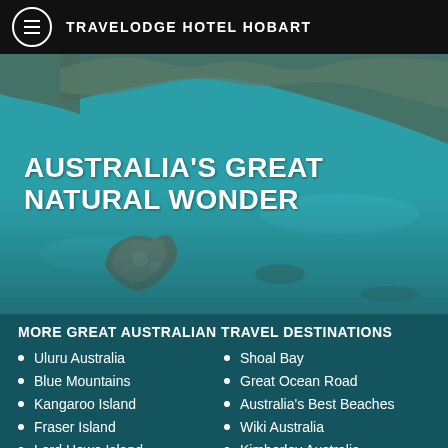TRAVELODGE HOTEL HOBART
[Figure (photo): Aerial view of Australian reef islands and coral formations in turquoise water with the text AUSTRALIA'S GREAT NATURAL WONDER overlaid]
AUSTRALIA'S GREAT NATURAL WONDER
MORE GREAT AUSTRALIAN TRAVEL DESTINATIONS
Uluru Australia
Blue Mountains
Kangaroo Island
Fraser Island
Lord Howe Island
Hunter Valley
Port Stephens
Shoal Bay
Great Ocean Road
Australia's Best Beaches
Wiki Australia
Kimberley Australia
Broome
Cable Beach